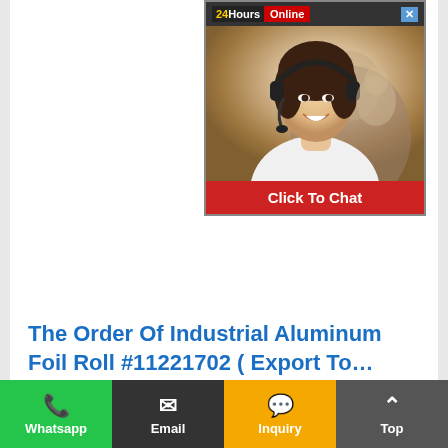[Figure (screenshot): 24 Hours Online chat widget with a photo of a female customer service representative wearing a headset, and a 'Click To Chat' button at the bottom.]
The Order Of Industrial Aluminum Foil Roll #11221702 ( Export To…
Product name: industrial aluminum foil roll  Item Specification (mm) Description ALUMINUM FOIL ROLLS WITH SUPPORT FOR INDUSTRIAL  USE 8011-O, 0. 014 (+/-4%) *300 (+/-1mm), Outside -matt Inside …
Whatsapp  Email  Inquiry  Top